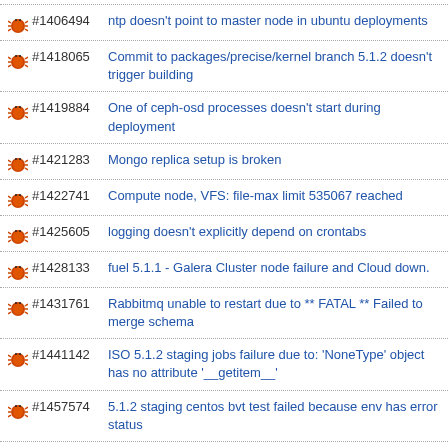#1406494 ntp doesn't point to master node in ubuntu deployments
#1418065 Commit to packages/precise/kernel branch 5.1.2 doesn't trigger building
#1419884 One of ceph-osd processes doesn't start during deployment
#1421283 Mongo replica setup is broken
#1422741 Compute node, VFS: file-max limit 535067 reached
#1425605 logging doesn't explicitly depend on crontabs
#1428133 fuel 5.1.1 - Galera Cluster node failure and Cloud down.
#1431761 Rabbitmq unable to restart due to ** FATAL ** Failed to merge schema
#1441142 ISO 5.1.2 staging jobs failure due to: 'NoneType' object has no attribute '__getitem__'
#1457574 5.1.2 staging centos bvt test failed because env has error status